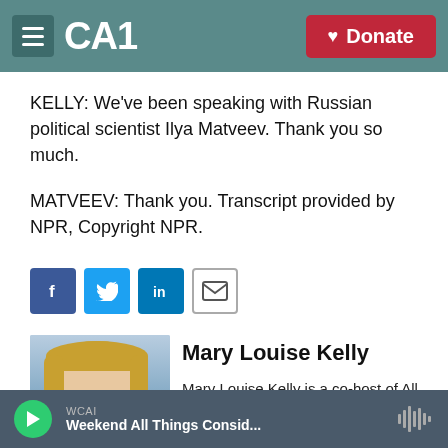CAI | Donate
KELLY: We've been speaking with Russian political scientist Ilya Matveev. Thank you so much.
MATVEEV: Thank you. Transcript provided by NPR, Copyright NPR.
[Figure (other): Social share icons: Facebook, Twitter, LinkedIn, Email]
[Figure (photo): Headshot photo of Mary Louise Kelly, blonde woman in red top]
Mary Louise Kelly
Mary Louise Kelly is a co-host of All Things Considered, NPR's award-winning...
WCAI | Weekend All Things Consid...